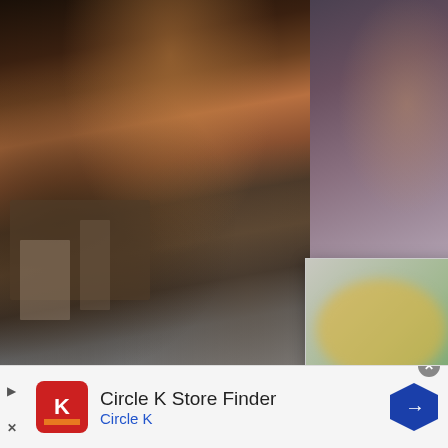[Figure (photo): Main background photo of people in a vintage/industrial interior space with brick walls]
[Figure (screenshot): Popup card overlay showing a woman in yellow outfit with hat, with article title 'Airport Fly: How To Keep Your Swag While Traveling - 21Ninety']
FABYS 2021 RECAP
[Figure (screenshot): Advertisement banner for Circle K Store Finder with Circle K logo and navigation icon]